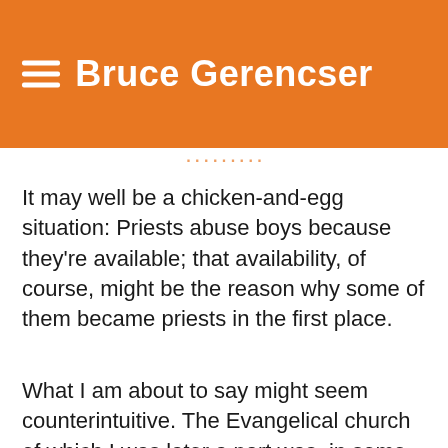Bruce Gerencser
It may well be a chicken-and-egg situation: Priests abuse boys because they're available; that availability, of course, might be the reason why some of them became priests in the first place.
What I am about to say might seem counterintuitive. The Evangelical church of which I was later a part was, in some ways, more “co-ed,” if you will. When I was growing up, there seemed to be no interaction between priests and...